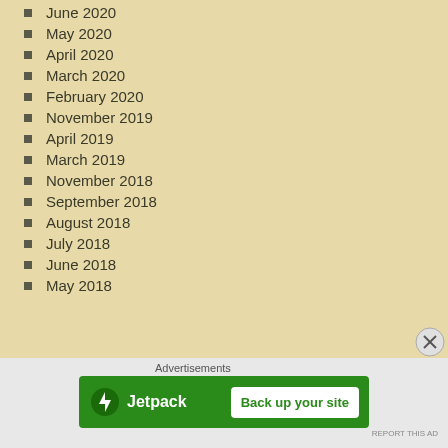June 2020
May 2020
April 2020
March 2020
February 2020
November 2019
April 2019
March 2019
November 2018
September 2018
August 2018
July 2018
June 2018
May 2018
[Figure (infographic): Jetpack advertisement banner with green background, Jetpack logo and name on left, white 'Back up your site' button on right]